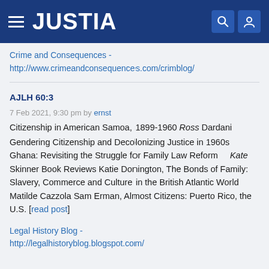JUSTIA
Crime and Consequences - http://www.crimeandconsequences.com/crimblog/
AJLH 60:3
7 Feb 2021, 9:30 pm by ernst
Citizenship in American Samoa, 1899-1960 Ross Dardani Gendering Citizenship and Decolonizing Justice in 1960s Ghana: Revisiting the Struggle for Family Law Reform    Kate Skinner Book Reviews Katie Donington, The Bonds of Family: Slavery, Commerce and Culture in the British Atlantic World    Matilde Cazzola Sam Erman, Almost Citizens: Puerto Rico, the U.S. [read post]
Legal History Blog - http://legalhistoryblog.blogspot.com/